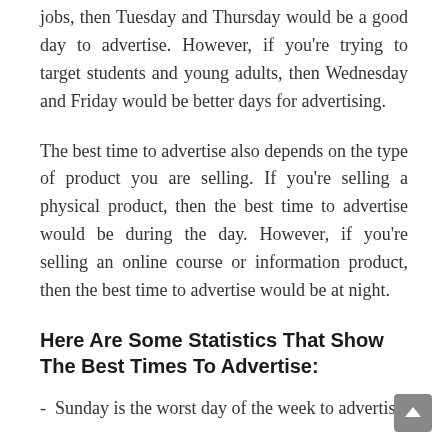jobs, then Tuesday and Thursday would be a good day to advertise. However, if you're trying to target students and young adults, then Wednesday and Friday would be better days for advertising.
The best time to advertise also depends on the type of product you are selling. If you're selling a physical product, then the best time to advertise would be during the day. However, if you're selling an online course or information product, then the best time to advertise would be at night.
Here Are Some Statistics That Show The Best Times To Advertise:
- Sunday is the worst day of the week to advertise.